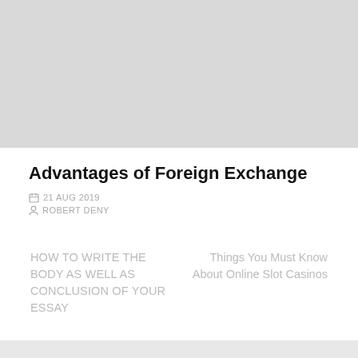[Figure (photo): Large grey placeholder image at the top of the page]
Advantages of Foreign Exchange
21 AUG 2019
ROBERT DENY
HOW TO WRITE THE BODY AS WELL AS CONCLUSION OF YOUR ESSAY
Things You Must Know About Online Slot Casinos